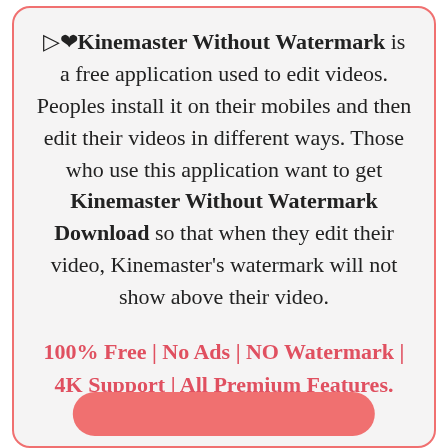▷❤Kinemaster Without Watermark is a free application used to edit videos. Peoples install it on their mobiles and then edit their videos in different ways. Those who use this application want to get Kinemaster Without Watermark Download so that when they edit their video, Kinemaster's watermark will not show above their video.
100% Free | No Ads | NO Watermark | 4K Support | All Premium Features.